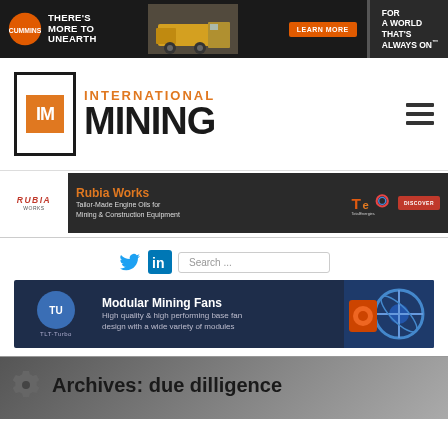[Figure (other): Cummins advertisement banner: THERE'S MORE TO UNEARTH with mining truck, LEARN MORE button, FOR A WORLD THAT'S ALWAYS ON tagline]
[Figure (logo): International Mining (IM) logo - orange IM square in black border frame with INTERNATIONAL MINING text]
[Figure (other): Rubia Works advertisement banner: Tailor-Made Engine Oils for Mining & Construction Equipment, TotalEnergies logo, DISCOVER button]
[Figure (other): Social media icons (Twitter, LinkedIn) and search box]
[Figure (other): TLT-Turbo advertisement: Modular Mining Fans - High quality & high performing base fan design with a wide variety of modules]
Archives: due dilligence